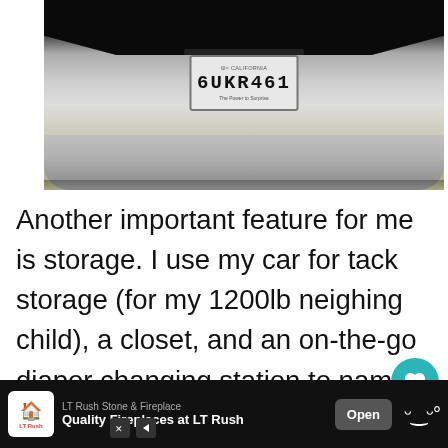[Figure (photo): Front bumper of a Kia with California license plate reading 6UKR461]
Another important feature for me is storage. I use my car for tack storage (for my 1200lb neighing child), a closet, and an on-the-go diaper changing station to name a few. Needless to say I need space, something the Kia Optima is not short on.
[Figure (infographic): UI overlay: heart/like button with count 1, share button, and What's Next thumbnail]
WHAT'S NEXT → Our Latest Favorite...
LT Rush Stone & Fireplace
Quality Fireplaces at LT Rush
Open